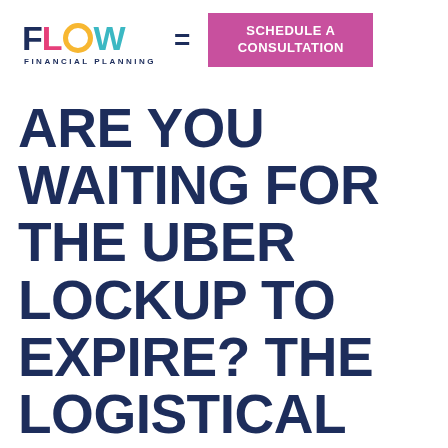FLOW FINANCIAL PLANNING = SCHEDULE A CONSULTATION
ARE YOU WAITING FOR THE UBER LOCKUP TO EXPIRE? THE LOGISTICAL DETAILS YOU NEED TO IMPLEMENT YOUR STRATEGY.